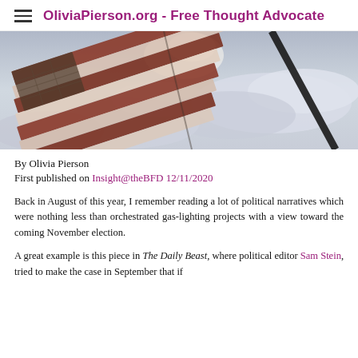OliviaPierson.org - Free Thought Advocate
[Figure (photo): American flag waving against a cloudy sky, viewed from below at an angle, with a dark flagpole visible on the right side.]
By Olivia Pierson
First published on Insight@theBFD 12/11/2020
Back in August of this year, I remember reading a lot of political narratives which were nothing less than orchestrated gas-lighting projects with a view toward the coming November election.
A great example is this piece in The Daily Beast, where political editor Sam Stein, tried to make the case in September that if